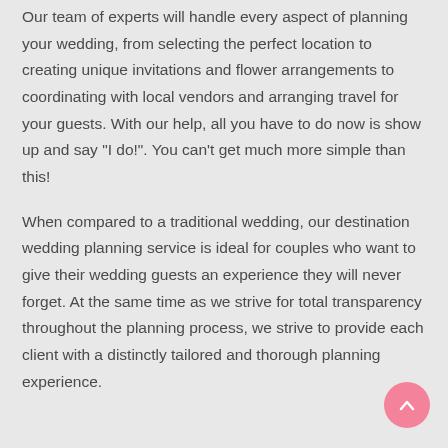Our team of experts will handle every aspect of planning your wedding, from selecting the perfect location to creating unique invitations and flower arrangements to coordinating with local vendors and arranging travel for your guests. With our help, all you have to do now is show up and say "I do!". You can't get much more simple than this!
When compared to a traditional wedding, our destination wedding planning service is ideal for couples who want to give their wedding guests an experience they will never forget. At the same time as we strive for total transparency throughout the planning process, we strive to provide each client with a distinctly tailored and thorough planning experience.